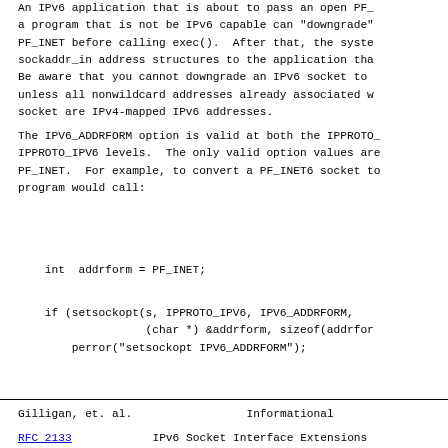An IPv6 application that is about to pass an open PF_... a program that is not be IPv6 capable can "downgrade" PF_INET before calling exec(). After that, the system sockaddr_in address structures to the application that Be aware that you cannot downgrade an IPv6 socket to a unless all nonwildcard addresses already associated wi socket are IPv4-mapped IPv6 addresses.
The IPV6_ADDRFORM option is valid at both the IPPROTO_ IPPROTO_IPV6 levels. The only valid option values are PF_INET. For example, to convert a PF_INET6 socket to program would call:
Gilligan, et. al.               Informational
RFC 2133                IPv6 Socket Interface Extensions